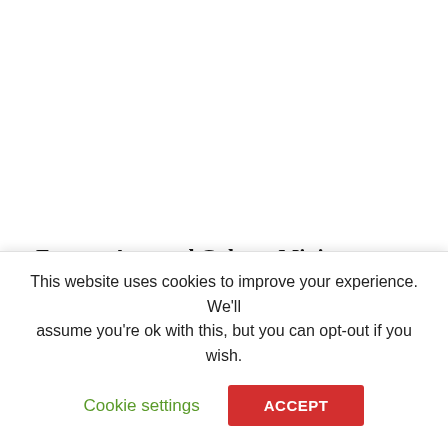Former Arts and Culture Minister David Coltart
This website uses cookies to improve your experience. We'll assume you're ok with this, but you can opt-out if you wish.